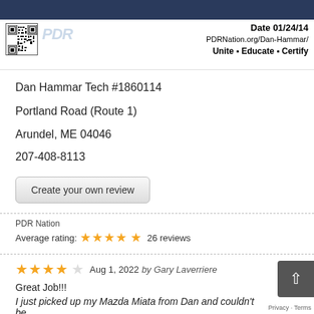[Figure (screenshot): PDR Nation certification card header with photo bar, QR code, date 01/24/14, URL PDRNation.org/Dan-Hammar/, tagline Unite Educate Certify, and PDR watermark logo]
Dan Hammar Tech #1860114
Portland Road (Route 1)
Arundel, ME 04046
207-408-8113
Create your own review
PDR Nation
Average rating: ★★★★★ 26 reviews
★★★★☆ Aug 1, 2022 by Gary Laverriere
Great Job!!!
I just picked up my Mazda Miata from Dan and couldn't be